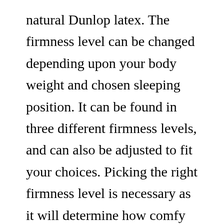natural Dunlop latex. The firmness level can be changed depending upon your body weight and chosen sleeping position. It can be found in three different firmness levels, and can also be adjusted to fit your choices. Picking the right firmness level is necessary as it will determine how comfy you will be on your mattress.
PlushBeds Luxury Bliss Review
The PlushBeds Luxury BlisS mattress is an excellent hybrid latex bed mattress with breathable materials such as a layer of moisture-wicking wool. The latex in the